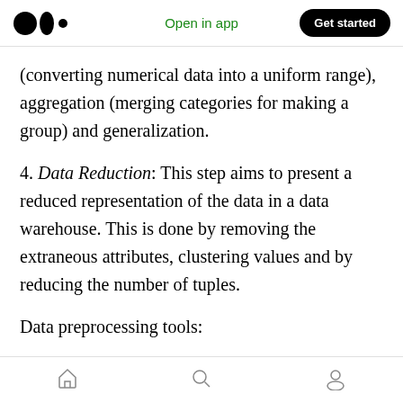Open in app  Get started
(converting numerical data into a uniform range), aggregation (merging categories for making a group) and generalization.
4. Data Reduction: This step aims to present a reduced representation of the data in a data warehouse. This is done by removing the extraneous attributes, clustering values and by reducing the number of tuples.
Data preprocessing tools:
· RapidMiner helps in executing Data
home  search  profile